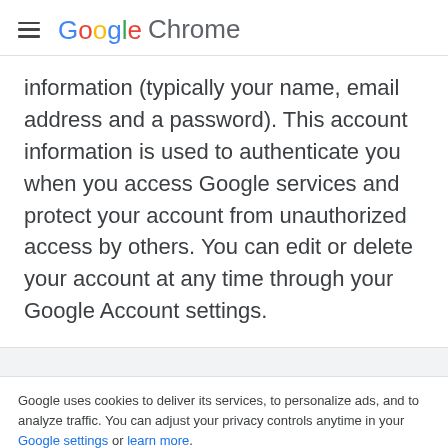Google Chrome
information (typically your name, email address and a password). This account information is used to authenticate you when you access Google services and protect your account from unauthorized access by others. You can edit or delete your account at any time through your Google Account settings.
Google uses cookies to deliver its services, to personalize ads, and to analyze traffic. You can adjust your privacy controls anytime in your Google settings or learn more.
Ok, got it